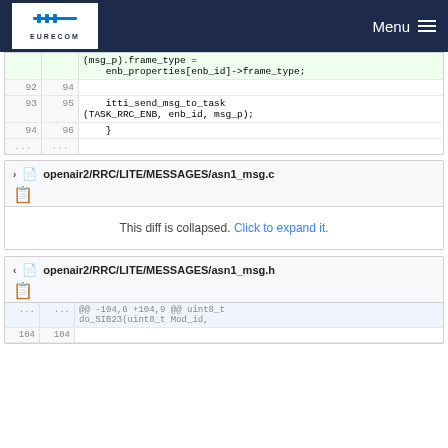EURECOM — Menu
| old | new | code |
| --- | --- | --- |
|  |  | (msg_p).frame_type =
    enb_properties[enb_id]->frame_type; |
| 92 | 94 |  |
| 93 | 95 |     itti_send_msg_to_task
(TASK_RRC_ENB, enb_id, msg_p); |
| 94 | 96 |     } |
| ... | ... |  |
openair2/RRC/LITE/MESSAGES/asn1_msg.c
This diff is collapsed. Click to expand it.
openair2/RRC/LITE/MESSAGES/asn1_msg.h
| old | new | code |
| --- | --- | --- |
| ... | ... | @@ -104,6 +104,9 @@ uint8_t
do_SIB23(uint8_t Mod_id, |
| 104 | 104 |  |